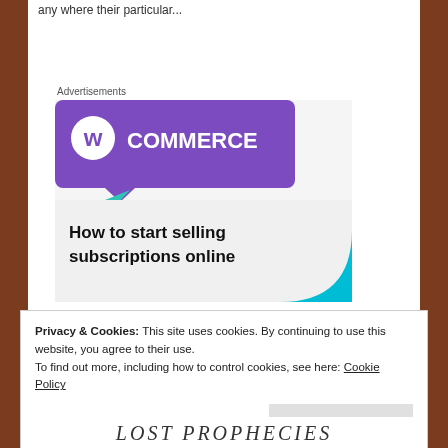any where their particular...
Advertisements
[Figure (illustration): WooCommerce advertisement banner showing purple header with WooCommerce logo, teal triangle shape bottom left, cyan quarter-circle bottom right, text reads 'How to start selling subscriptions online' on light gray background]
Privacy & Cookies: This site uses cookies. By continuing to use this website, you agree to their use. To find out more, including how to control cookies, see here: Cookie Policy
Close and accept
LOST PROPHECIES